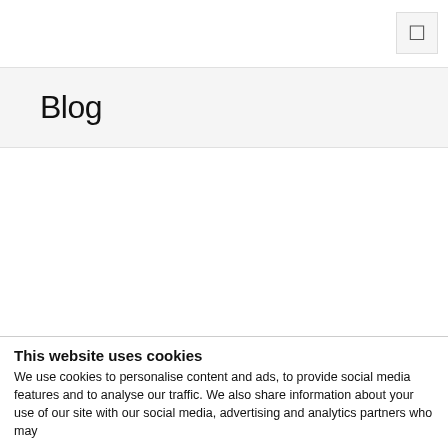Blog
The notification email template guide
This website uses cookies
We use cookies to personalise content and ads, to provide social media features and to analyse our traffic. We also share information about your use of our site with our social media, advertising and analytics partners who may